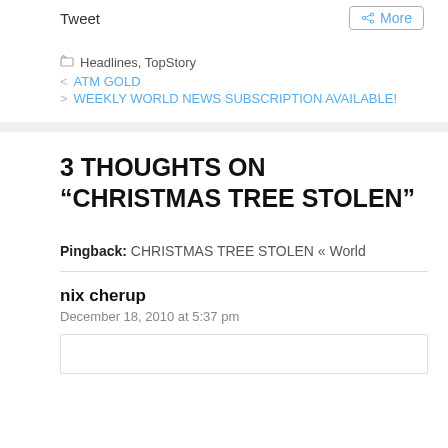Tweet
More
Headlines, TopStory
< ATM GOLD
> WEEKLY WORLD NEWS SUBSCRIPTION AVAILABLE!
3 THOUGHTS ON "CHRISTMAS TREE STOLEN"
Pingback: CHRISTMAS TREE STOLEN « World
nix cherup
December 18, 2010 at 5:37 pm